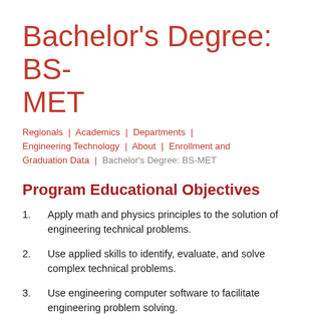Bachelor's Degree: BS-MET
Regionals | Academics | Departments | Engineering Technology | About | Enrollment and Graduation Data | Bachelor's Degree: BS-MET
Program Educational Objectives
Apply math and physics principles to the solution of engineering technical problems.
Use applied skills to identify, evaluate, and solve complex technical problems.
Use engineering computer software to facilitate engineering problem solving.
Function effectively in team-oriented activities.